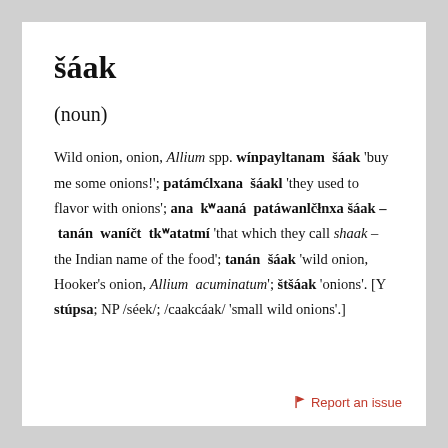šáak
(noun)
Wild onion, onion, Allium spp. wínpayltanam šáak 'buy me some onions!'; patámćlxana šáakl 'they used to flavor with onions'; ana kʷaaná patáwanlčłnxa šáak – tanán waníčt tkʷatatmí 'that which they call shaak – the Indian name of the food'; tanán šáak 'wild onion, Hooker's onion, Allium acuminatum'; štšáak 'onions'. [Y stúpsa; NP /séek/; /caakcáak/ 'small wild onions'.]
Report an issue